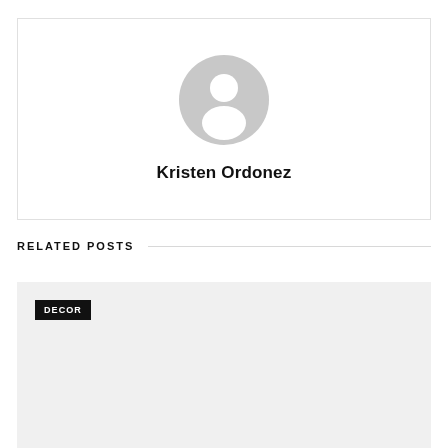[Figure (illustration): Generic user avatar placeholder icon — grey circular silhouette of a person on white background]
Kristen Ordonez
RELATED POSTS
[Figure (photo): Light grey placeholder image card with DECOR badge in top left corner]